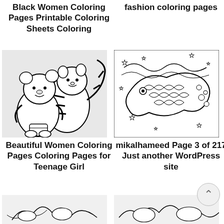Black Women Coloring Pages Printable Coloring Sheets Coloring
fashion coloring pages
[Figure (illustration): Black and white coloring page illustration of Winnie the Pooh and Tigger characters]
[Figure (illustration): Black and white intricate zentangle/mandala style coloring page with fish, stars and swirling patterns]
Beautiful Women Coloring Pages Coloring Pages for Teenage Girl
mikalhameed Page 3 of 217 Just another WordPress site
[Figure (illustration): Partial black and white coloring page illustration at bottom left]
[Figure (illustration): Partial black and white coloring page illustration at bottom right]